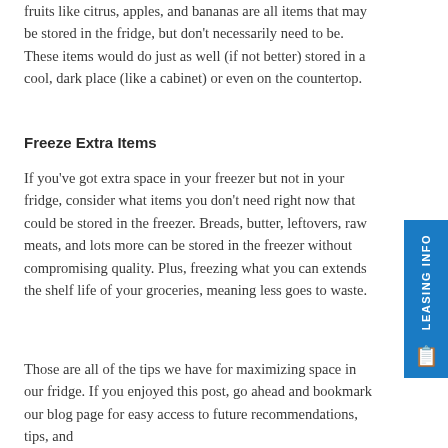fruits like citrus, apples, and bananas are all items that may be stored in the fridge, but don't necessarily need to be. These items would do just as well (if not better) stored in a cool, dark place (like a cabinet) or even on the countertop.
Freeze Extra Items
If you've got extra space in your freezer but not in your fridge, consider what items you don't need right now that could be stored in the freezer. Breads, butter, leftovers, raw meats, and lots more can be stored in the freezer without compromising quality. Plus, freezing what you can extends the shelf life of your groceries, meaning less goes to waste.
Those are all of the tips we have for maximizing space in our fridge. If you enjoyed this post, go ahead and bookmark our blog page for easy access to future recommendations, tips, and